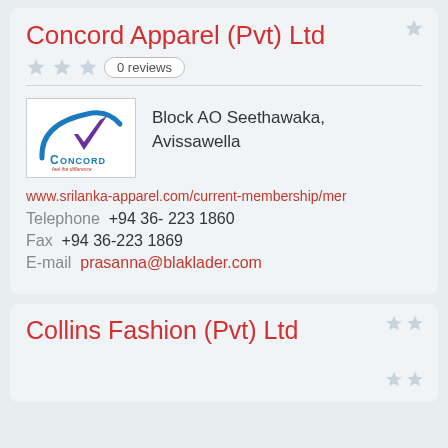Concord Apparel (Pvt) Ltd
0 reviews
[Figure (logo): Concord Apparel logo with a blue checkmark and the text CONCORD feel the difference]
Block AO Seethawaka, Avissawella
www.srilanka-apparel.com/current-membership/mer
Telephone  +94 36- 223 1860
Fax  +94 36-223 1869
E-mail  prasanna@blaklader.com
Collins Fashion (Pvt) Ltd